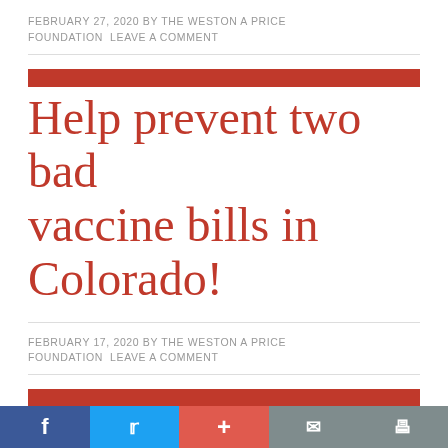FEBRUARY 27, 2020 BY THE WESTON A PRICE FOUNDATION LEAVE A COMMENT
Help prevent two bad vaccine bills in Colorado!
FEBRUARY 17, 2020 BY THE WESTON A PRICE FOUNDATION LEAVE A COMMENT
Help Stop a Bad Vaccine Bill in the New
f  t  +  mail  print